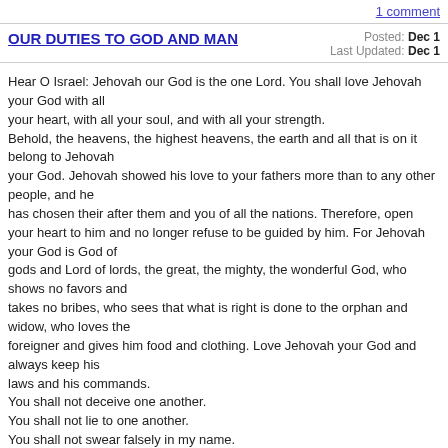1 comment
OUR DUTIES TO GOD AND MAN
Posted: Dec 1 
Last Updated: Dec 1
Hear O Israel: Jehovah our God is the one Lord. You shall love Jehovah your God with all
your heart, with all your soul, and with all your strength.
Behold, the heavens, the highest heavens, the earth and all that is on it belong to Jehovah
your God. Jehovah showed his love to your fathers more than to any other people, and he
has chosen their after them and you of all the nations. Therefore, open your heart to him and no longer refuse to be guided by him. For Jehovah your God is God of
gods and Lord of lords, the great, the mighty, the wonderful God, who shows no favors and
takes no bribes, who sees that what is right is done to the orphan and widow, who loves the
foreigner and gives him food and clothing. Love Jehovah your God and always keep his
laws and his commands.
You shall not deceive one another.
You shall not lie to one another.
You shall not swear falsely in my name.
You shall not wrong nor rob your neighbor.
You shall not curse the deaf.
You shall not put a stumbling-block before the blind.
You shall not tell stories about one another.
You shall not hate any one.
You shall not take vengeance nor bear a grudge against any one.